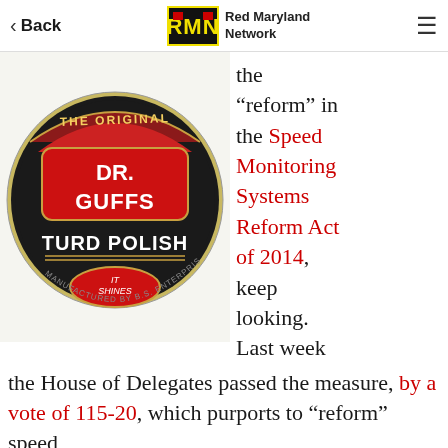Back | Red Maryland Network
[Figure (photo): Dr. Guffs Turd Polish can — circular black tin with red label reading DR. GUFFS TURD POLISH, IT SHINES, MANUFACTURED BY B.S. ENTERPRISES]
the “reform” in the Speed Monitoring Systems Reform Act of 2014, keep looking. Last week the House of Delegates passed the measure, by a vote of 115-20, which purports to “reform” speed camera systems throughout the Maryland jurisdictions that operate them. However, the bill
the House of Delegates passed the measure, by a vote of 115-20, which purports to “reform” speed camera systems throughout the Maryland jurisdictions that operate them. However, the bill